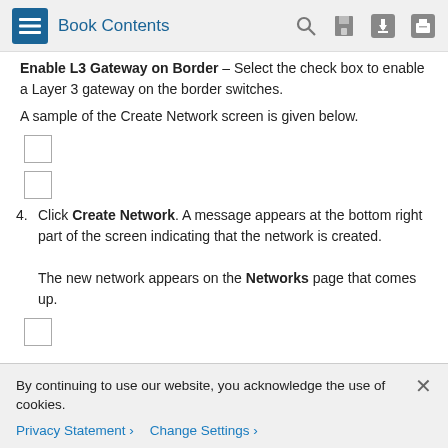Book Contents
Enable L3 Gateway on Border – Select the check box to enable a Layer 3 gateway on the border switches.
A sample of the Create Network screen is given below.
[Figure (screenshot): Two checkbox placeholders shown as empty squares]
4. Click Create Network. A message appears at the bottom right part of the screen indicating that the network is created.

The new network appears on the Networks page that comes up.
[Figure (screenshot): One checkbox placeholder shown as an empty square]
By continuing to use our website, you acknowledge the use of cookies.
Privacy Statement >   Change Settings >